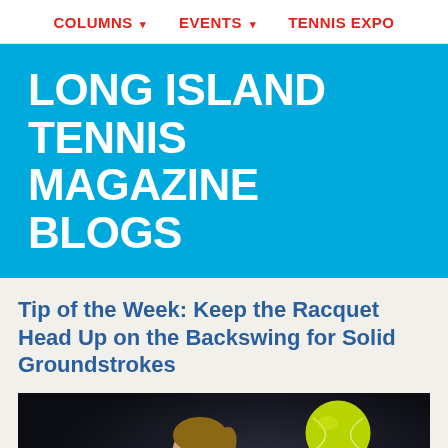COLUMNS ▾   EVENTS ▾   TENNIS EXPO
LONG ISLAND TENNIS MAGAZINE BLOGS
Tip of the Week: Keep the Racquet Head Up on the Backswing for Solid Groundstrokes
[Figure (photo): Female tennis player holding a racquet in backswing position, with a yellow-green tennis ball visible in the background against a dark backdrop.]